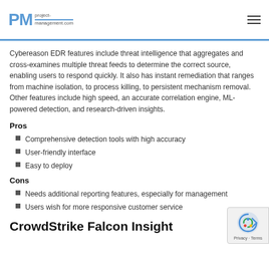PM project-management.com
Cybereason EDR features include threat intelligence that aggregates and cross-examines multiple threat feeds to determine the correct source, enabling users to respond quickly. It also has instant remediation that ranges from machine isolation, to process killing, to persistent mechanism removal. Other features include high speed, an accurate correlation engine, ML-powered detection, and research-driven insights.
Pros
Comprehensive detection tools with high accuracy
User-friendly interface
Easy to deploy
Cons
Needs additional reporting features, especially for management
Users wish for more responsive customer service
CrowdStrike Falcon Insight